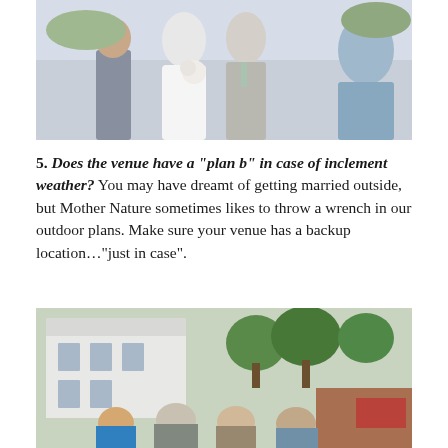[Figure (photo): Wedding photo of bride in white strapless gown holding bouquet and groom in grey suit with green tie, walking outdoors, woman in blue dress visible on right]
5. Does the venue have a “plan b” in case of inclement weather? You may have dreamt of getting married outside, but Mother Nature sometimes likes to throw a wrench in our outdoor plans. Make sure your venue has a backup location...“just in case”.
[Figure (photo): Outdoor event scene with a white building and green trees in background, crowd of people gathered outside, one person in blue shirt visible in foreground]